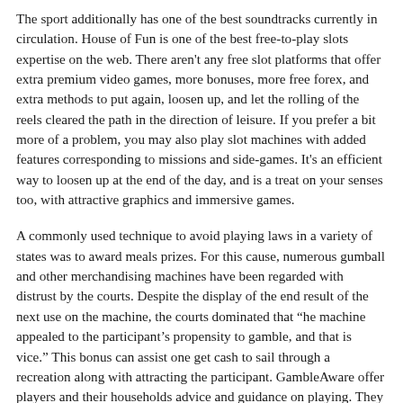The sport additionally has one of the best soundtracks currently in circulation. House of Fun is one of the best free-to-play slots expertise on the web. There aren't any free slot platforms that offer extra premium video games, more bonuses, more free forex, and extra methods to put again, loosen up, and let the rolling of the reels cleared the path in the direction of leisure. If you prefer a bit more of a problem, you may also play slot machines with added features corresponding to missions and side-games. It's an efficient way to loosen up at the end of the day, and is a treat on your senses too, with attractive graphics and immersive games.
A commonly used technique to avoid playing laws in a variety of states was to award meals prizes. For this cause, numerous gumball and other merchandising machines have been regarded with distrust by the courts. Despite the display of the end result of the next use on the machine, the courts dominated that “he machine appealed to the participant’s propensity to gamble, and that is vice.” This bonus can assist one get cash to sail through a recreation along with attracting the participant. GambleAware offer players and their households advice and guidance on playing. They supply data and recommendation to encourage accountable playing, each to players and casino operators, and provides assist to those that might have a playing problem.